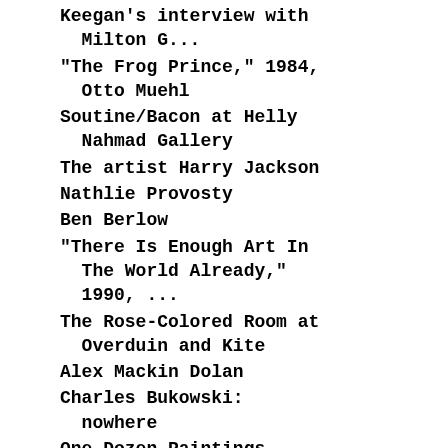Keegan's interview with Milton G...
"The Frog Prince," 1984, Otto Muehl
Soutine/Bacon at Helly Nahmad Gallery
The artist Harry Jackson
Nathlie Provosty
Ben Berlow
"There Is Enough Art In The World Already," 1990, ...
The Rose-Colored Room at Overduin and Kite
Alex Mackin Dolan
Charles Bukowski: nowhere
One Dozen Paintings, April 20 - May 20th